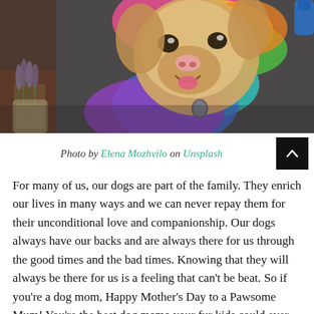[Figure (photo): A colorful painted portrait of a smiling dog on a dark gray fabric/shirt, with rainbow splashes of paint around it. A vase of lavender flowers is visible on the left side. A blue bottle is partially visible in the upper right corner.]
Photo by Elena Mozhvilo on Unsplash
For many of us, our dogs are part of the family. They enrich our lives in many ways and we can never repay them for their unconditional love and companionship. Our dogs always have our backs and are always there for us through the good times and the bad times. Knowing that they will always be there for us is a feeling that can't be beat. So if you're a dog mom, Happy Mother's Day to a Pawsome Mum! You're the best dog mama your fur kids could ever have and